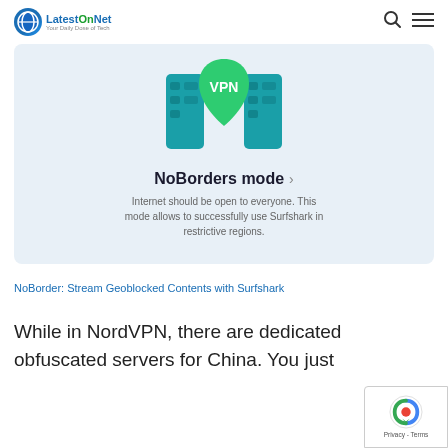LatestOnNet
[Figure (screenshot): Surfshark VPN NoBorders mode promotional screenshot showing a VPN shield icon with teal colored server graphics, title 'NoBorders mode >' and description text 'Internet should be open to everyone. This mode allows to successfully use Surfshark in restrictive regions.']
NoBorder: Stream Geoblocked Contents with Surfshark
While in NordVPN, there are dedicated obfuscated servers for China. You just